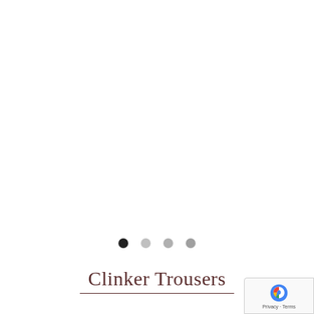[Figure (photo): White/blank product image area for Clinker Trousers, showing an empty white background where a product photo would appear]
[Figure (other): Carousel navigation dots: one filled dark circle (active) followed by three progressively lighter gray circles]
Clinker Trousers
[Figure (other): reCAPTCHA badge in bottom-right corner showing reCAPTCHA logo, Privacy and Terms text]